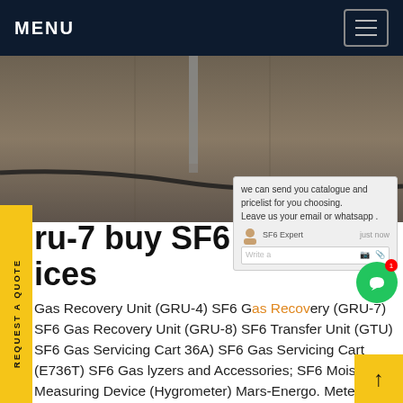MENU
[Figure (photo): Hero background photo of a concrete industrial floor with pipes/cables. SF6China logo watermark in orange italic text at bottom right.]
ru-7 buy SF6 system ices
Gas Recovery Unit (GRU-4) SF6 Gas Recovery (GRU-7) SF6 Gas Recovery Unit (GRU-8) SF6 Transfer Unit (GTU) SF6 Gas Servicing Cart 36A) SF6 Gas Servicing Cart (E736T) SF6 Gas lyzers and Accessories; SF6 Moisture Measuring Device (Hygrometer) Mars-Energo. Meter test systems; Power quality analysers and DC meter price